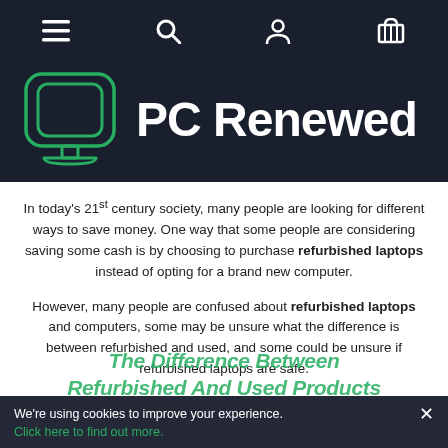Navigation bar with menu, search, account, and cart icons
[Figure (logo): PC Renewed logo: green outline illustration of a desktop computer monitor with a rounded square screen, on a dark navy background, with white text 'PC Renewed' to the right]
In today's 21st century society, many people are looking for different ways to save money. One way that some people are considering saving some cash is by choosing to purchase refurbished laptops instead of opting for a brand new computer.
However, many people are confused about refurbished laptops and computers, some may be unsure what the difference is between refurbished and used, and some could be unsure if refurbished laptops are safe.
The Difference Between Refurbished And Used Products
We're using cookies to improve your experience. Click here to find out more.